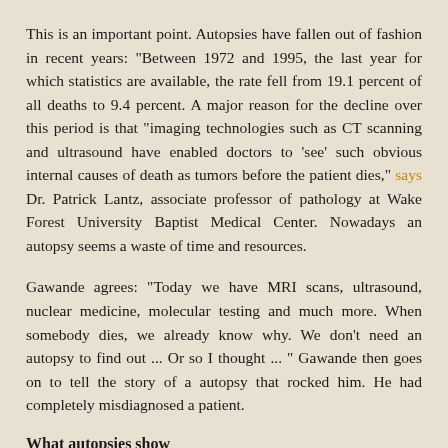This is an important point. Autopsies have fallen out of fashion in recent years: "Between 1972 and 1995, the last year for which statistics are available, the rate fell from 19.1 percent of all deaths to 9.4 percent. A major reason for the decline over this period is that "imaging technologies such as CT scanning and ultrasound have enabled doctors to ‘see’ such obvious internal causes of death as tumors before the patient dies," says Dr. Patrick Lantz, associate professor of pathology at Wake Forest University Baptist Medical Center. Nowadays an autopsy seems a waste of time and resources.
Gawande agrees: "Today we have MRI scans, ultrasound, nuclear medicine, molecular testing and much more. When somebody dies, we already know why. We don’t need an autopsy to find out ... Or so I thought ... " Gawande then goes on to tell the story of a autopsy that rocked him. He had completely misdiagnosed a patient.
What autopsies show